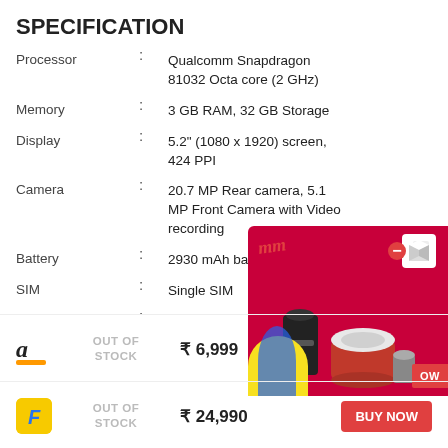SPECIFICATION
| Spec |  | Value |
| --- | --- | --- |
| Processor | : | Qualcomm Snapdragon 81032 Octa core (2 GHz) |
| Memory | : | 3 GB RAM, 32 GB Storage |
| Display | : | 5.2" (1080 x 1920) screen, 424 PPI |
| Camera | : | 20.7 MP Rear camera, 5.1 MP Front Camera with Video recording |
| Battery | : | 2930 mAh battery |
| SIM | : | Single SIM |
| Features | : | LED Flash, water resist... |
[Figure (photo): Advertisement overlay showing a kitchen appliance set on a red background with brand logo and price badge]
OUT OF STOCK
₹ 6,999
OUT OF STOCK
₹ 24,990
BUY NOW